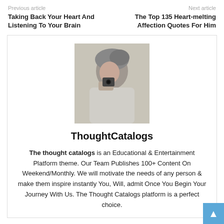Previous article
Next article
Taking Back Your Heart And Listening To Your Brain
The Top 135 Heart-melting Affection Quotes For Him
[Figure (photo): Photo of a person wearing a headscarf and holding a camera]
ThoughtCatalogs
The thought catalogs is an Educational & Entertainment Platform theme. Our Team Publishes 100+ Content On Weekend/Monthly. We will motivate the needs of any person & make them inspire instantly You, Will, admit Once You Begin Your Journey With Us. The Thought Catalogs platform is a perfect choice.